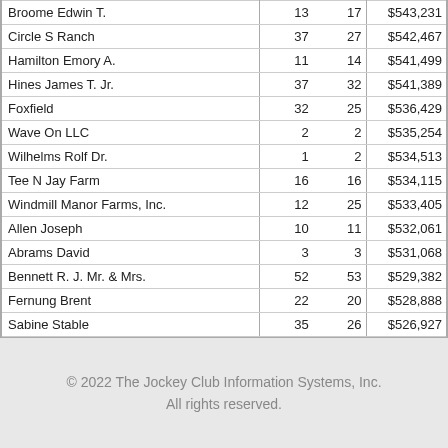| Broome Edwin T. | 13 | 17 | $543,231 |
| Circle S Ranch | 37 | 27 | $542,467 |
| Hamilton Emory A. | 11 | 14 | $541,499 |
| Hines James T. Jr. | 37 | 32 | $541,389 |
| Foxfield | 32 | 25 | $536,429 |
| Wave On LLC | 2 | 2 | $535,254 |
| Wilhelms Rolf Dr. | 1 | 2 | $534,513 |
| Tee N Jay Farm | 16 | 16 | $534,115 |
| Windmill Manor Farms, Inc. | 12 | 25 | $533,405 |
| Allen Joseph | 10 | 11 | $532,061 |
| Abrams David | 3 | 3 | $531,068 |
| Bennett R. J. Mr. & Mrs. | 52 | 53 | $529,382 |
| Fernung Brent | 22 | 20 | $528,888 |
| Sabine Stable | 35 | 26 | $526,927 |
| Ostrager Barry R. | 27 | 26 | $526,791 |
© 2022 The Jockey Club Information Systems, Inc. All rights reserved.